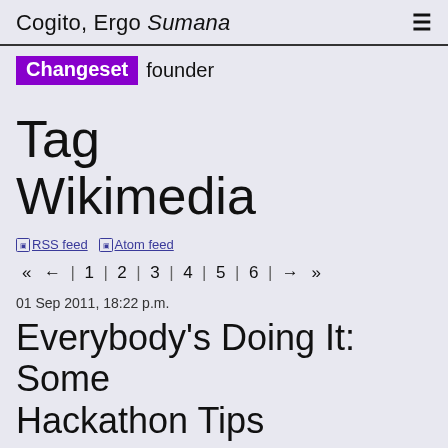Cogito, Ergo Sumana  ≡
Changeset founder
Tag
Wikimedia
RSS feed  Atom feed
«  ←  |  1  |  2  |  3  |  4  |  5  |  6  |  →  »
01 Sep 2011, 18:22 p.m.
Everybody's Doing It: Some Hackathon Tips